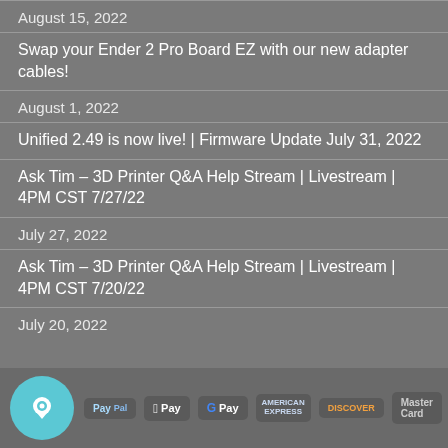August 15, 2022
Swap your Ender 2 Pro Board EZ with our new adapter cables!
August 1, 2022
Unified 2.49 is now live! | Firmware Update July 31, 2022
Ask Tim – 3D Printer Q&A Help Stream | Livestream | 4PM CST 7/27/22
July 27, 2022
Ask Tim – 3D Printer Q&A Help Stream | Livestream | 4PM CST 7/20/22
July 20, 2022
PayPal | Apple Pay | G Pay | American Express | Discover | MasterCard | VISA